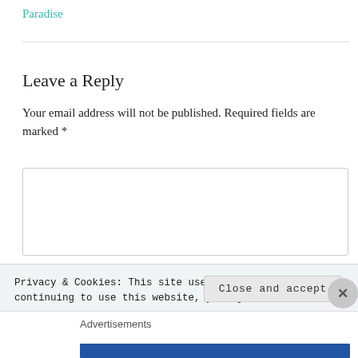Paradise
Leave a Reply
Your email address will not be published. Required fields are marked *
[Figure (screenshot): Comment text input box with placeholder text COMMENT and an asterisk below it]
Privacy & Cookies: This site uses cookies. By continuing to use this website, you agree to their use.
To find out more, including how to control cookies, see here: Cookie Policy
Close and accept
Advertisements